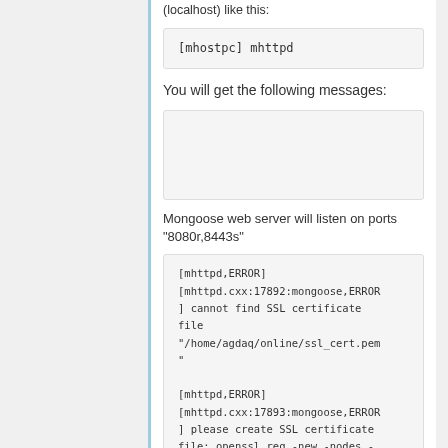(localhost) like this:
[mhostpc] mhttpd
You will get the following messages:
Mongoose web server will listen on ports "8080r,8443s"
[mhttpd,ERROR] [mhttpd.cxx:17892:mongoose,ERROR] cannot find SSL certificate file "/home/agdaq/online/ssl_cert.pem"
[mhttpd,ERROR] [mhttpd.cxx:17893:mongoose,ERROR] please create SSL certificate file: openssl req -new -nodes -newkey rsa:2048 -sha256 -out